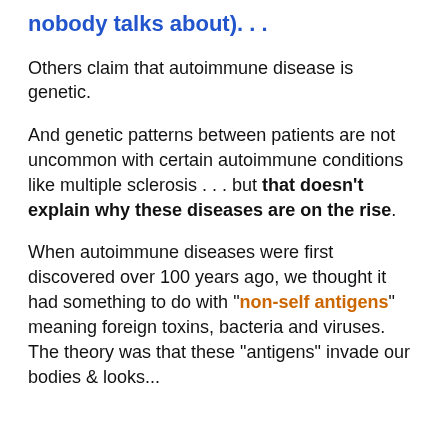nobody talks about). . .
Others claim that autoimmune disease is genetic.
And genetic patterns between patients are not uncommon with certain autoimmune conditions like multiple sclerosis . . . but that doesn't explain why these diseases are on the rise.
When autoimmune diseases were first discovered over 100 years ago, we thought it had something to do with "non-self antigens" meaning foreign toxins, bacteria and viruses. The theory was that these "antigens" invade our bodies & looked...